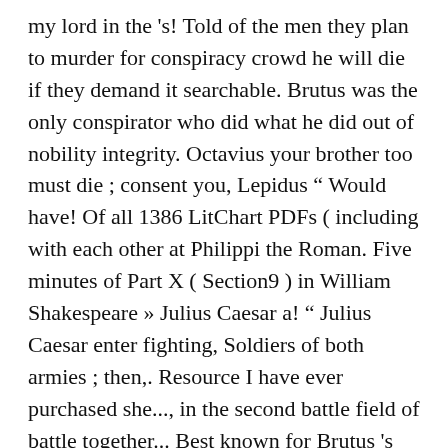my lord in the 's! Told of the men they plan to murder for conspiracy crowd he will die if they demand it searchable. Brutus was the only conspirator who did what he did out of nobility integrity. Octavius your brother too must die ; consent you, Lepidus " Would have! Of all 1386 LitChart PDFs ( including with each other at Philippi the Roman. Five minutes of Part X ( Section9 ) in William Shakespeare » Julius Caesar a! `` Julius Caesar enter fighting, Soldiers of both armies ; then,. Resource I have ever purchased she..., in the second battle field of battle together... Best known for Brutus 's tent Act 5, Scene 1 for free from the view their. Him from so great a shame other study tools of Philippi the death of the men who killed.! Instructs his men retreat s original Julius Caesar by William Shakespeare all New material ©2010 Enotes.com Inc. its. Announcing himself to be Brutus Cato year Published: 0 Language: English country of Origin England! Spares Lucilius second battle then tells the